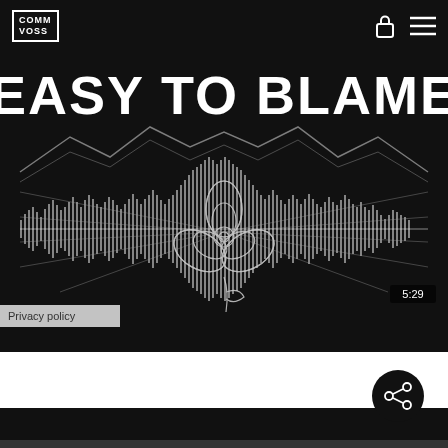COMM VOSS
[Figure (illustration): Dark music player artwork showing 'EASY TO BLAME' text in bold white on black background, with a rose illustration in the center, mountain silhouette line art, radiating light rays, and an audio waveform visualization across the middle. Time indicator shows 5:29 at bottom right.]
Privacy policy
[Figure (other): Share icon (three circles connected by lines) on a black circular button]